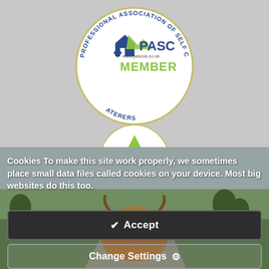[Figure (logo): PASC Member badge — circular badge reading 'PROFESSIONAL ASSOCIATION OF SELF CATERERS MEMBER' around the edge with a house logo and www.pascuk.co.uk in the centre]
[Figure (photo): Photograph of a highland cow standing on a road with green hills and sky in the background]
Cookies To make this site work properly, we sometimes place small data files called cookies on your device. Most big websites do this too.
Accept
Change Settings